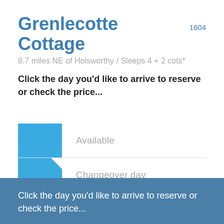Grenlecotte Cottage 1604
8.7 miles NE of Holsworthy / Sleeps 4 + 2 cots*
Click the day you'd like to arrive to reserve or check the price...
Available
Changeover day
Unavailable
Click the day you'd like to arrive to reserve or check the price...